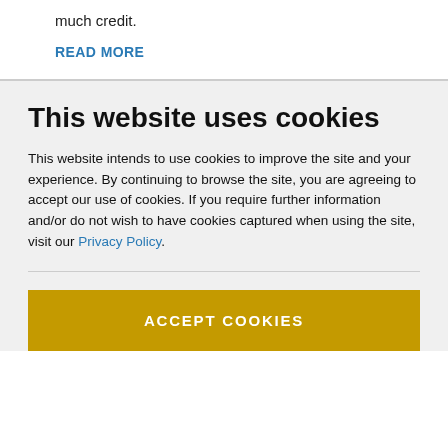much credit.
READ MORE
This website uses cookies
This website intends to use cookies to improve the site and your experience. By continuing to browse the site, you are agreeing to accept our use of cookies. If you require further information and/or do not wish to have cookies captured when using the site, visit our Privacy Policy.
ACCEPT COOKIES